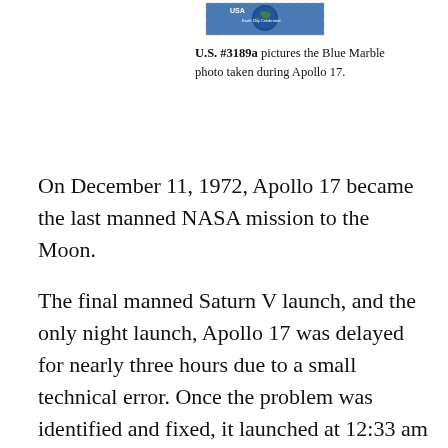[Figure (illustration): A U.S. postage stamp (U.S. #3189a) depicting the Blue Marble photo taken during Apollo 17, showing Earth from space with 'USA' and 'Earth Day Celebrated' text, perforated edges visible.]
U.S. #3189a pictures the Blue Marble photo taken during Apollo 17.
On December 11, 1972, Apollo 17 became the last manned NASA mission to the Moon.
The final manned Saturn V launch, and the only night launch, Apollo 17 was delayed for nearly three hours due to a small technical error. Once the problem was identified and fixed, it launched at 12:33 am on December 7, 1972. About 500,000 people watched the nighttime launch from the ground and surrounding areas.